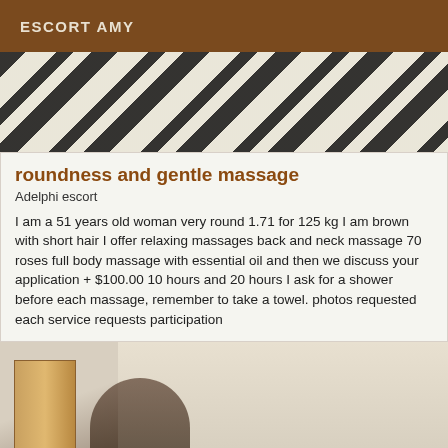ESCORT AMY
[Figure (photo): Top portion of a photo showing black and white patterned fabric/textile]
roundness and gentle massage
Adelphi escort
I am a 51 years old woman very round 1.71 for 125 kg I am brown with short hair I offer relaxing massages back and neck massage 70 roses full body massage with essential oil and then we discuss your application + $100.00 10 hours and 20 hours I ask for a shower before each massage, remember to take a towel. photos requested each service requests participation
[Figure (photo): Bottom photo showing interior room with wooden door and figure partially visible]